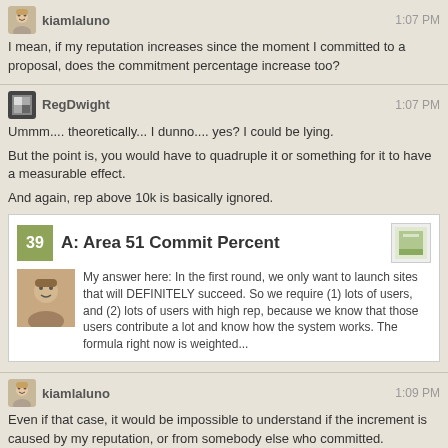kiamlaluno 1:07 PM
I mean, if my reputation increases since the moment I committed to a proposal, does the commitment percentage increase too?
RegDwight 1:07 PM
Ummm.... theoretically... I dunno.... yes? I could be lying.
But the point is, you would have to quadruple it or something for it to have a measurable effect.
And again, rep above 10k is basically ignored.
[Figure (screenshot): Embedded Stack Exchange answer card: score 39, title 'A: Area 51 Commit Percent', with answer text about launching sites that will DEFINITELY succeed.]
kiamlaluno 1:09 PM
Even if that case, it would be impossible to understand if the increment is caused by my reputation, or from somebody else who committed.
Uhmmm... I saw a blu badge on my gravatar here.
Does it mean I get a reply on english.SE?
RegDwight 1:10 PM
@kiamlaluno ... or from everybody else's reputation
@kiamlaluno Blu badge? Where? When?
kiamlaluno 1:11 PM
The background color was different from this badge.